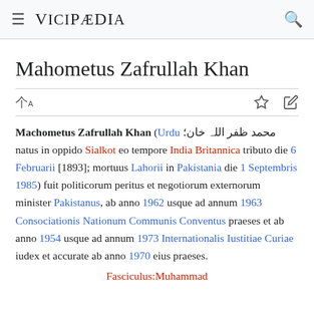≡ VICIPÆDIA 🔍
Mahometus Zafrullah Khan
Machometus Zafrullah Khan (Urdu محمد ظفر اللہ خان; natus in oppido Sialkot eo tempore India Britannica tributo die 6 Februarii [1893]; mortuus Lahorii in Pakistania die 1 Septembris 1985) fuit politicorum peritus et negotiorum externorum minister Pakistanus, ab anno 1962 usque ad annum 1963 Consociationis Nationum Communis Conventus praeses et ab anno 1954 usque ad annum 1973 Internationalis Iustitiae Curiae iudex et accurate ab anno 1970 eius praeses.
Fasciculus:Muhammad